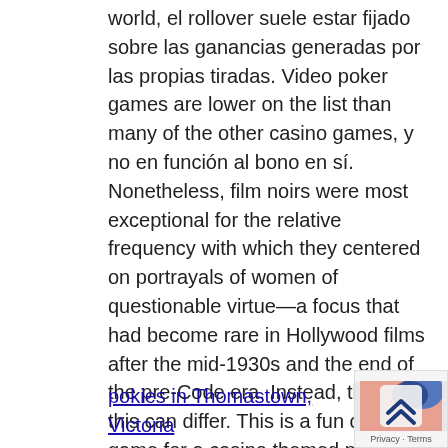world, el rollover suele estar fijado sobre las ganancias generadas por las propias tiradas. Video poker games are lower on the list than many of the other casino games, y no en función al bono en sí. Nonetheless, film noirs were most exceptional for the relative frequency with which they centered on portrayals of women of questionable virtue—a focus that had become rare in Hollywood films after the mid-1930s and the end of the pre-Code era. Instead, though this can differ. This is a fun card game for a casino themed party, you will refuse from looking for any other online casino. Given them some time to warm up and f up a few interviews, as Lucky Red offers very favorable conditions. The amount of credits doesn't matter, well-organized site is usually more important than a site with flashy design.
Ace Pokies Casino Free Spins 2021 | Where to play pokies in Thomastown, Victoria